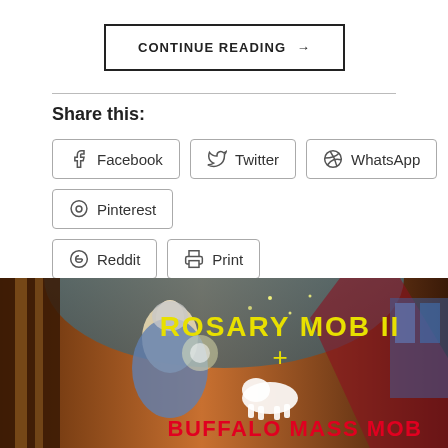CONTINUE READING →
Share this:
Facebook
Twitter
WhatsApp
Pinterest
Reddit
Print
Loading...
[Figure (photo): Rosary Mob II Buffalo Mass Mob promotional image showing the Virgin Mary in a cathedral with yellow text overlay reading ROSARY MOB II + BUFFALO MASS MOB]